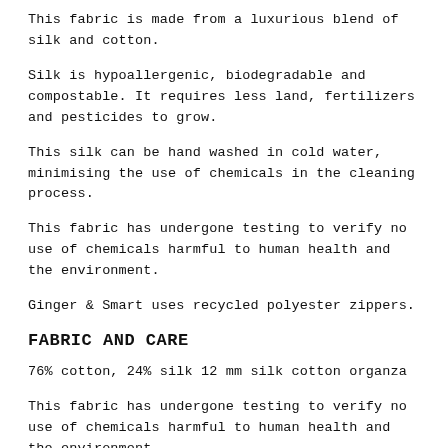This fabric is made from a luxurious blend of silk and cotton.
Silk is hypoallergenic, biodegradable and compostable. It requires less land, fertilizers and pesticides to grow.
This silk can be hand washed in cold water, minimising the use of chemicals in the cleaning process.
This fabric has undergone testing to verify no use of chemicals harmful to human health and the environment.
Ginger & Smart uses recycled polyester zippers.
FABRIC AND CARE
76% cotton, 24% silk 12 mm silk cotton organza
This fabric has undergone testing to verify no use of chemicals harmful to human health and the environment.